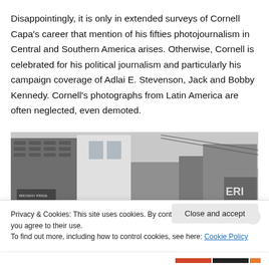Disappointingly, it is only in extended surveys of Cornell Capa's career that mention of his fifties photojournalism in Central and Southern America arises. Otherwise, Cornell is celebrated for his political journalism and particularly his campaign coverage of Adlai E. Stevenson, Jack and Bobby Kennedy. Cornell's photographs from Latin America are often neglected, even demoted.
[Figure (photo): Black and white photograph of an urban street scene showing brick buildings, storefronts, and signage including partial letters 'ERI' and 'LACKA' visible on the right side.]
Privacy & Cookies: This site uses cookies. By continuing to use this website, you agree to their use.
To find out more, including how to control cookies, see here: Cookie Policy
Close and accept